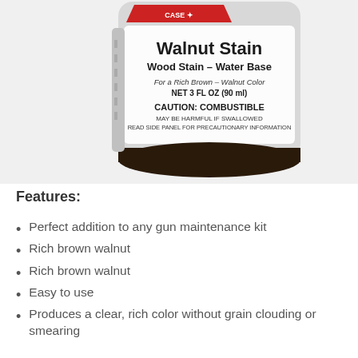[Figure (photo): A bottle of Birchwood Casey Walnut Stain Wood Stain - Water Base product. Label reads: Walnut Stain, Wood Stain - Water Base, For a Rich Brown - Walnut Color, NET 3 FL OZ (90 ml), CAUTION: COMBUSTIBLE, MAY BE HARMFUL IF SWALLOWED, READ SIDE PANEL FOR PRECAUTIONARY INFORMATION.]
Features:
Perfect addition to any gun maintenance kit
Rich brown walnut
Rich brown walnut
Easy to use
Produces a clear, rich color without grain clouding or smearing